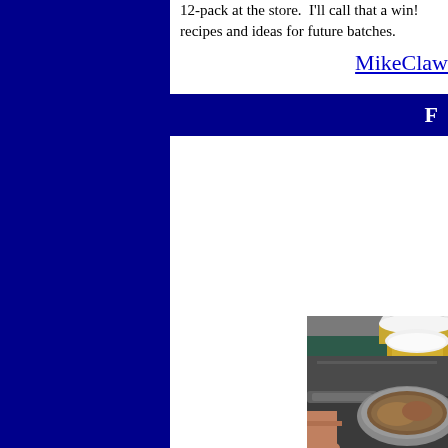12-pack at the store.  I'll call that a win!  recipes and ideas for future batches.
MikeClaw
F
[Figure (photo): Yellow/orange round squash vegetables arranged on a dark green mat, with a white bowl and yellow pot visible in the background]
[Figure (photo): Close-up of a pan or pot on a stove, partial view of cooking]